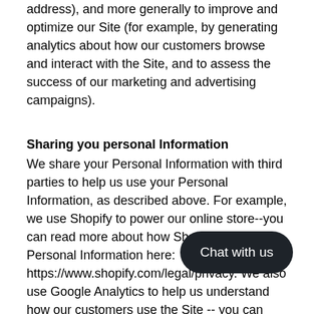address), and more generally to improve and optimize our Site (for example, by generating analytics about how our customers browse and interact with the Site, and to assess the success of our marketing and advertising campaigns).
Sharing you personal Information
We share your Personal Information with third parties to help us use your Personal Information, as described above. For example, we use Shopify to power our online store--you can read more about how Shopify uses your Personal Information here: https://www.shopify.com/legal/privacy. We also use Google Analytics to help us understand how our customers use the Site -- you can read more about how Google uses your Personal Information here: https://www.google.com/intl/en/policies/privacy/. You can also opt-out of Google Analytics here: https://tools.google.com/dlpage/gaoptout.
Finally, we may also share your Personal Information to comply with applicable laws and regulations, to respond to a subpoena, search warrant or other lawful request for